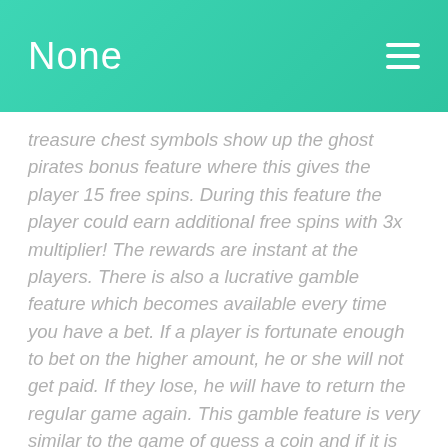None
treasure chest symbols show up the ghost pirates bonus feature where this gives the player 15 free spins. During this feature the player could earn additional free spins with 3x multiplier! The rewards are instant at the players. There is also a lucrative gamble feature which becomes available every time you have a bet. If a player is fortunate enough to bet on the higher amount, he or she will not get paid. If they lose, he will have to return the regular game again. This gamble feature is very similar to the game of guess a coin and if it is from 0 to 180, then the bettors guess is the one in the long term. Players can see just how much has been won by placing bets on the collect option, and by deciding if to take the wager. The gamble feature is more likely to be won here than in other games. Punters into this gamble can tread the option at any moment by not experiencing any kind of gamble feature at all, as you could be offered a